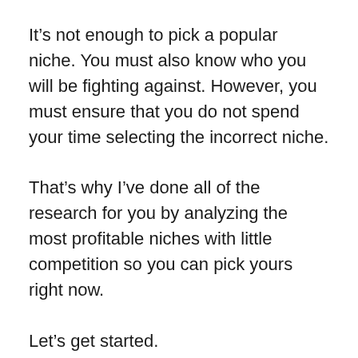It’s not enough to pick a popular niche. You must also know who you will be fighting against. However, you must ensure that you do not spend your time selecting the incorrect niche.
That’s why I’ve done all of the research for you by analyzing the most profitable niches with little competition so you can pick yours right now.
Let’s get started.